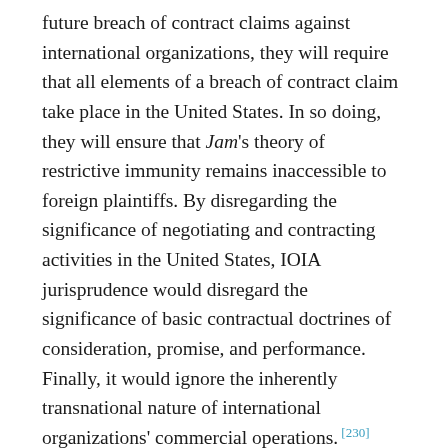future breach of contract claims against international organizations, they will require that all elements of a breach of contract claim take place in the United States. In so doing, they will ensure that Jam's theory of restrictive immunity remains inaccessible to foreign plaintiffs. By disregarding the significance of negotiating and contracting activities in the United States, IOIA jurisprudence would disregard the significance of basic contractual doctrines of consideration, promise, and performance. Finally, it would ignore the inherently transnational nature of international organizations' commercial operations. [230]